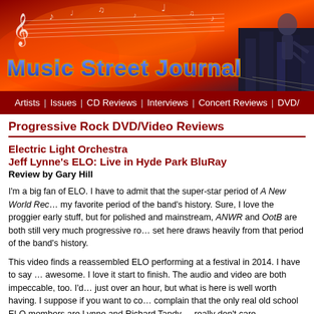[Figure (illustration): Music Street Journal website header banner with fiery red/orange background, musical notes, silhouette of guitarist, and 'Music Street Journal' logo text in blue/gold stylized font]
Artists | Issues | CD Reviews | Interviews | Concert Reviews | DVD/
Progressive Rock DVD/Video Reviews
Electric Light Orchestra
Jeff Lynne's ELO: Live in Hyde Park BluRay
Review by Gary Hill
I'm a big fan of ELO. I have to admit that the super-star period of A New World Rec… my favorite period of the band's history. Sure, I love the proggier early stuff, but for polished and mainstream, ANWR and OotB are both still very much progressive ro… set here draws heavily from that period of the band's history.
This video finds a reassembled ELO performing at a festival in 2014. I have to say … awesome. I love it start to finish. The audio and video are both impeccable, too. I'd… just over an hour, but what is here is well worth having. I suppose if you want to co… complain that the only real old school ELO members are Lynne and Richard Tandy,… really don't care.
Honestly, if all you got was that concert, I'd be happy. The thing is, there is also a d…